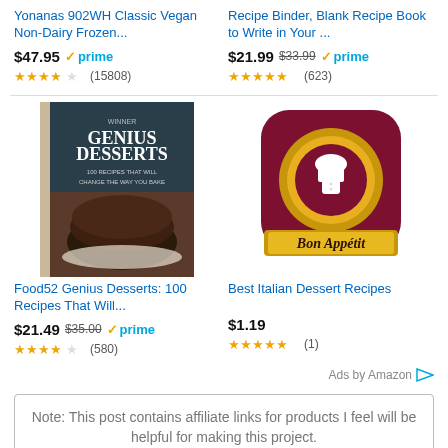Yonanas 902WH Classic Vegan Non-Dairy Frozen...
$47.95 ✓prime
★★★★☆ (15808)
Recipe Binder, Blank Recipe Book to Write in Your ...
$21.99 $33.99 ✓prime
★★★★★ (623)
[Figure (photo): Book cover of Food52 Genius Desserts showing a chocolate cake on a pedestal against a dark background]
Food52 Genius Desserts: 100 Recipes That Will...
$21.49 $35.00 ✓prime
★★★★☆ (580)
[Figure (photo): App icon for Best Italian Dessert Recipes showing a chef on a dark red background with gold ring and Bon Appétit banner]
Best Italian Dessert Recipes
$1.19
★★★★★ (1)
Ads by Amazon
Note: This post contains affiliate links for products I feel will be helpful for making this project.